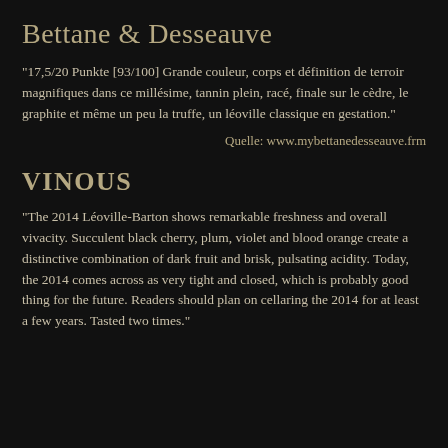Bettane & Desseauve
"17,5/20 Punkte [93/100] Grande couleur, corps et définition de terroir magnifiques dans ce millésime, tannin plein, racé, finale sur le cèdre, le graphite et même un peu la truffe, un léoville classique en gestation."
Quelle: www.mybettanedesseauve.frm
VINOUS
"The 2014 Léoville-Barton shows remarkable freshness and overall vivacity. Succulent black cherry, plum, violet and blood orange create a distinctive combination of dark fruit and brisk, pulsating acidity. Today, the 2014 comes across as very tight and closed, which is probably good thing for the future. Readers should plan on cellaring the 2014 for at least a few years. Tasted two times."